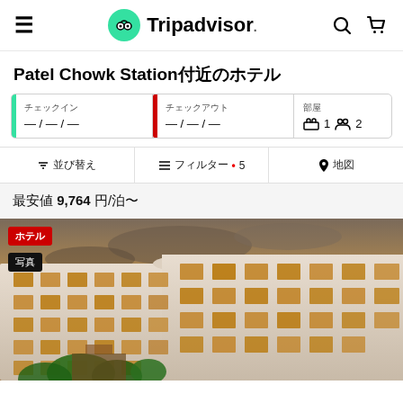Tripadvisor
Patel Chowk Station付近のホテル
チェックイン —/—/— チェックアウト —/—/— 部屋 1 人数 2
並び替え フィルター • 5 地図
最安値 9,764 円/泊〜
[Figure (photo): Exterior photo of a large curved modern hotel building with multiple floors of windows lit warmly at dusk, with trees in the foreground.]